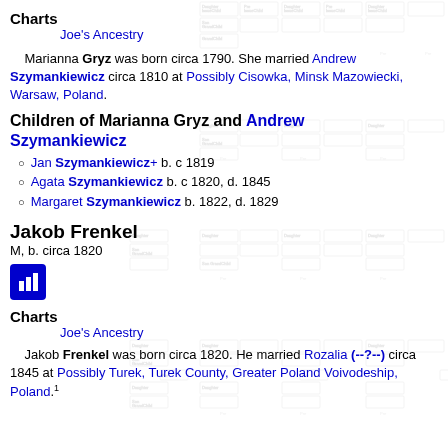Charts
Joe's Ancestry
Marianna Gryz was born circa 1790. She married Andrew Szymankiewicz circa 1810 at Possibly Cisowka, Minsk Mazowiecki, Warsaw, Poland.
Children of Marianna Gryz and Andrew Szymankiewicz
Jan Szymankiewicz+ b. c 1819
Agata Szymankiewicz b. c 1820, d. 1845
Margaret Szymankiewicz b. 1822, d. 1829
Jakob Frenkel
M, b. circa 1820
Charts
Joe's Ancestry
Jakob Frenkel was born circa 1820. He married Rozalia (--?--) circa 1845 at Possibly Turek, Turek County, Greater Poland Voivodeship, Poland.1